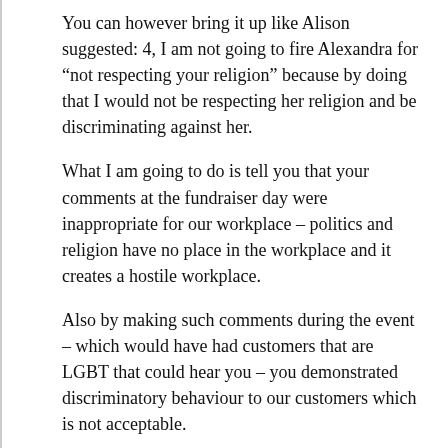You can however bring it up like Alison suggested: 4, I am not going to fire Alexandra for “not respecting your religion” because by doing that I would not be respecting her religion and be discriminating against her.
What I am going to do is tell you that your comments at the fundraiser day were inappropriate for our workplace – politics and religion have no place in the workplace and it creates a hostile workplace.
Also by making such comments during the event – which would have had customers that are LGBT that could hear you – you demonstrated discriminatory behaviour to our customers which is not acceptable.
If we hear of any such behaviour again, the [CLOSE] be serious consequences up to and including firing.